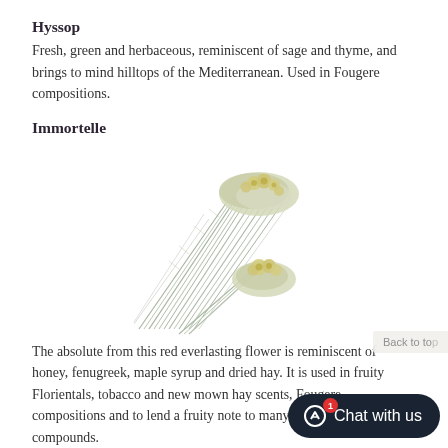Hyssop
Fresh, green and herbaceous, reminiscent of sage and thyme, and brings to mind hilltops of the Mediterranean. Used in Fougere compositions.
Immortelle
[Figure (photo): Photo of immortelle (everlasting) dried flowers with long silvery-green stems and small yellow-white clustered flower heads, arranged loosely on a white background.]
The absolute from this red everlasting flower is reminiscent of honey, fenugreek, maple syrup and dried hay. It is used in fruity Florientals, tobacco and new mown hay scents, Fougere compositions and to lend a fruity note to many synthetic floral compounds.
Jasmine Grandiflorum Absolute
[Figure (photo): Partial photo of white jasmine grandiflorum flowers with green leaves, cropped at the bottom of the page.]